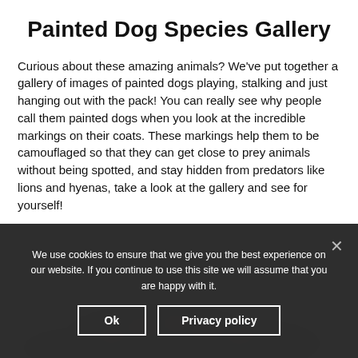Painted Dog Species Gallery
Curious about these amazing animals? We've put together a gallery of images of painted dogs playing, stalking and just hanging out with the pack! You can really see why people call them painted dogs when you look at the incredible markings on their coats. These markings help them to be camouflaged so that they can get close to prey animals without being spotted, and stay hidden from predators like lions and hyenas, take a look at the gallery and see for yourself!
[Figure (photo): Dark background image of painted dogs, partially visible at bottom of page with cookie consent overlay]
We use cookies to ensure that we give you the best experience on our website. If you continue to use this site we will assume that you are happy with it.
Ok   Privacy policy